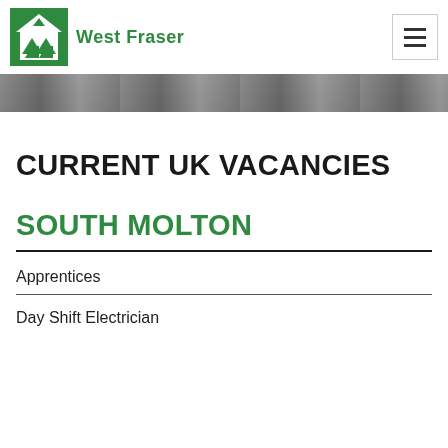West Fraser
[Figure (photo): Partial view of a worker in high-visibility clothing, cropped at top of page]
CURRENT UK VACANCIES
SOUTH MOLTON
Apprentices
Day Shift Electrician